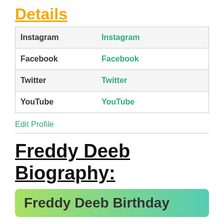Details
|  |  |
| --- | --- |
| Instagram | Instagram |
| Facebook | Facebook |
| Twitter | Twitter |
| YouTube | YouTube |
Edit Profile
Freddy Deeb Biography:
Freddy Deeb Birthday